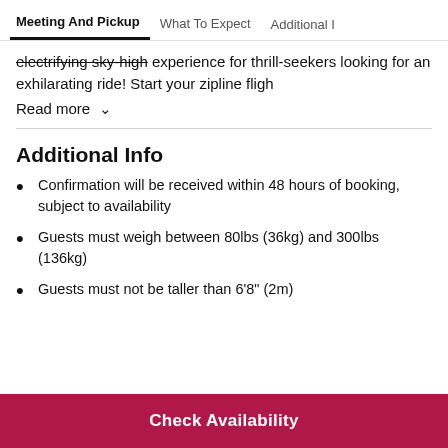Meeting And Pickup | What To Expect | Additional Info
electrifying sky-high experience for thrill-seekers looking for an exhilarating ride! Start your zipline fligh
Read more ↓
Additional Info
Confirmation will be received within 48 hours of booking, subject to availability
Guests must weigh between 80lbs (36kg) and 300lbs (136kg)
Guests must not be taller than 6'8" (2m)
Check Availability